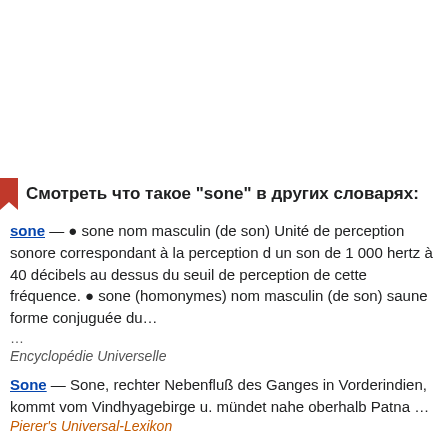Смотреть что такое "sone" в других словарях:
sone — ● sone nom masculin (de son) Unité de perception sonore correspondant à la perception d un son de 1 000 hertz à 40 décibels au dessus du seuil de perception de cette fréquence. ● sone (homonymes) nom masculin (de son) saune forme conjuguée du… … Encyclopédie Universelle
Sone — Sone, rechter Nebenfluß des Ganges in Vorderindien, kommt vom Vindhyagebirge u. mündet nahe oberhalb Patna … Pierer's Universal-Lexikon
Sone — (spr. ßohn), engl. Schreibung für Schon (s.d.) … Kleines